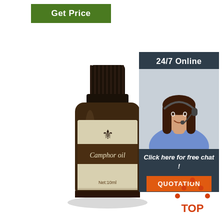[Figure (other): Green button with white text 'Get Price']
[Figure (photo): A dark amber glass bottle with black ridged cap and cream-colored label showing a fleur-de-lis emblem, 'Camphor oil' text, and 'Net:10ml' at bottom]
[Figure (photo): Customer service representative with headset smiling, dark slate background panel with '24/7 Online' text, 'Click here for free chat!' text, and orange 'QUOTATION' button]
[Figure (other): Orange 'TOP' logo with triangle of dots above the text]